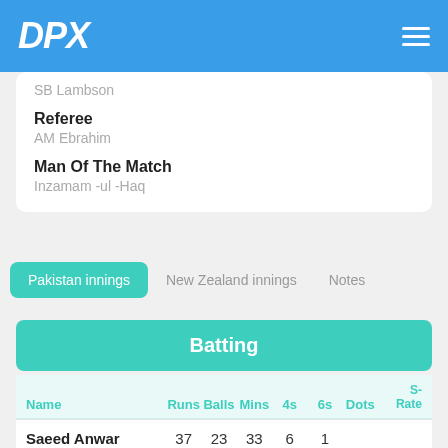DPK
SB Lambson
Referee
AM Ebrahim
Man Of The Match
Inzamam -ul -Haq
Pakistan innings
New Zealand innings
Notes
Batting
| Name | Runs | Balls | Mins | 4s | 6s | Dots | S-Rate |
| --- | --- | --- | --- | --- | --- | --- | --- |
| Saeed Anwar
c Parore b Nash | 37 | 23 | 33 | 6 | 1 |  |  |